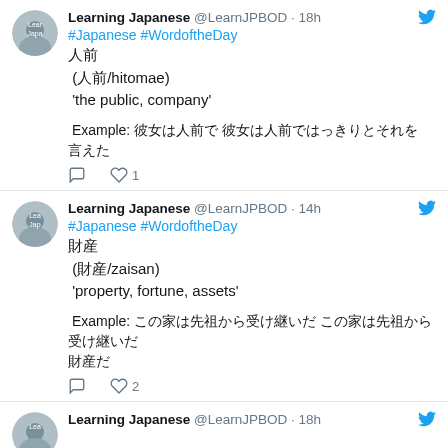Learning Japanese @LearnJPBOD · 18h
#Japanese #WordoftheDay
人前
(人前/hitomae)
'the public, company'

Example: 彼女は人前で 彼女は人前ではっきりとそれを
言えた
♡ 1
Learning Japanese @LearnJPBOD · 14h
#Japanese #WordoftheDay
財産
(財産/zaisan)
'property, fortune, assets'

Example: この家は先祖から受け継いだ この家は先祖から受け継いだ財産だ
財産だ
♡ 2
Learning Japanese @LearnJPBOD · 18h